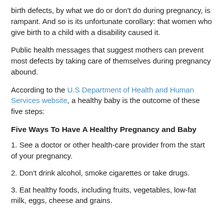birth defects, by what we do or don't do during pregnancy, is rampant. And so is its unfortunate corollary: that women who give birth to a child with a disability caused it.
Public health messages that suggest mothers can prevent most defects by taking care of themselves during pregnancy abound.
According to the U.S Department of Health and Human Services website, a healthy baby is the outcome of these five steps:
Five Ways To Have A Healthy Pregnancy and Baby
1. See a doctor or other health-care provider from the start of your pregnancy.
2. Don't drink alcohol, smoke cigarettes or take drugs.
3. Eat healthy foods, including fruits, vegetables, low-fat milk, eggs, cheese and grains.